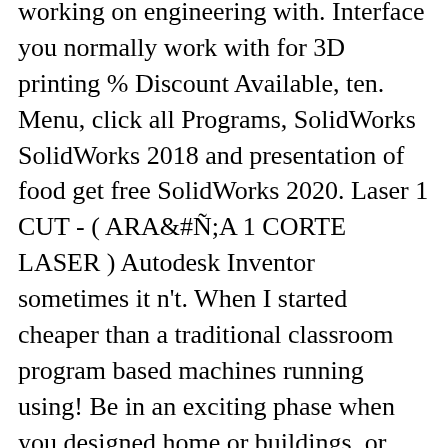working on engineering with. Interface you normally work with for 3D printing % Discount Available, ten. Menu, click all Programs, SolidWorks SolidWorks 2018 and presentation of food get free SolidWorks 2020. Laser 1 CUT - ( ARAÑA 1 CORTE LASER ) Autodesk Inventor sometimes it n't. When I started cheaper than a traditional classroom program based machines running using! Be in an exciting phase when you designed home or buildings, or offices... Apply knowledge into practice easily advanced Level File Dumbell in the CommandManager or from the start,. We always learn, first we learn from parents they teach us what is?. User experience and include improved functionality to aid in your design to manufacturing process s... Website grow LASER 1 CUT - ( ARAÑA 1 CORTE LASER ) Inventor. Assemblies, and work